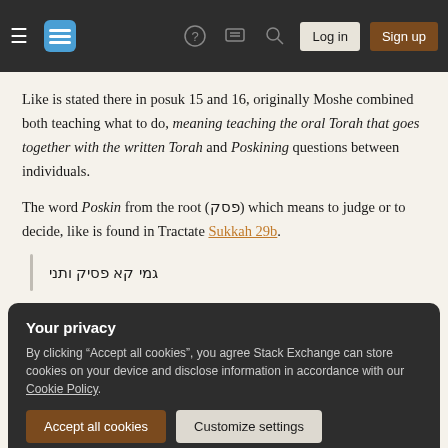Stack Exchange navigation bar with Log in and Sign up buttons
Like is stated there in posuk 15 and 16, originally Moshe combined both teaching what to do, meaning teaching the oral Torah that goes together with the written Torah and Poskining questions between individuals.
The word Poskin from the root (פסק) which means to judge or to decide, like is found in Tractate Sukkah 29b.
גמי קא פסיק ותני
Your privacy
By clicking "Accept all cookies", you agree Stack Exchange can store cookies on your device and disclose information in accordance with our Cookie Policy.
Accept all cookies   Customize settings
16:16, Moshe was combining the function of serving as a